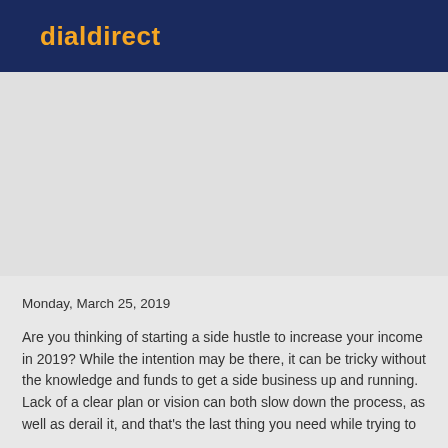dialdirect
[Figure (photo): Placeholder image area with light grey background]
Monday, March 25, 2019
Are you thinking of starting a side hustle to increase your income in 2019? While the intention may be there, it can be tricky without the knowledge and funds to get a side business up and running. Lack of a clear plan or vision can both slow down the process, as well as derail it, and that's the last thing you need while trying to